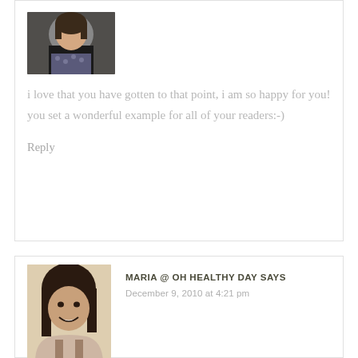[Figure (photo): Avatar photo of a woman in a dark cardigan with a patterned top]
i love that you have gotten to that point, i am so happy for you! you set a wonderful example for all of your readers:-)
Reply
[Figure (photo): Avatar photo of a young woman with dark hair, smiling]
MARIA @ OH HEALTHY DAY SAYS
December 9, 2010 at 4:21 pm